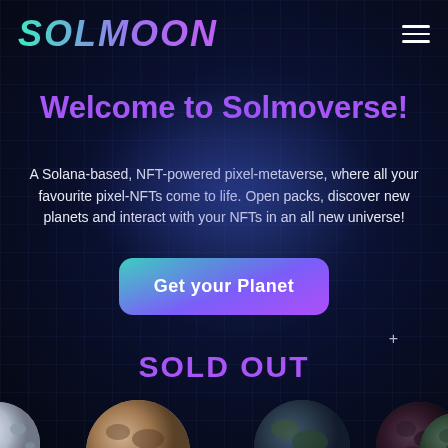SOLMOON
Welcome to Solmoverse!
A Solana-based, NFT-powered pixel-metaverse, where all your favourite pixel-NFTs come to life. Open packs, discover new planets and interact with your NFTs in an all new universe!
Get your Planet
SOLD OUT
[Figure (illustration): Row of pixel-art planet spheres at the bottom of the page, partially cropped, showing various textured planets in dark tones]